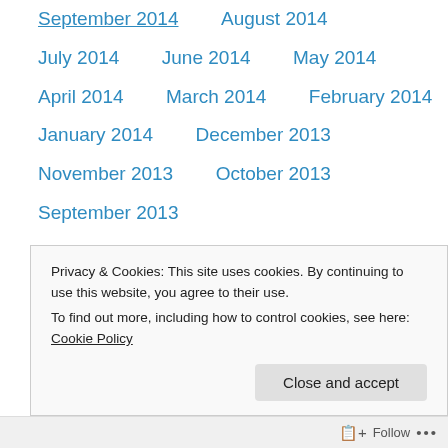September 2014
August 2014
July 2014
June 2014
May 2014
April 2014
March 2014
February 2014
January 2014
December 2013
November 2013
October 2013
September 2013
Privacy & Cookies: This site uses cookies. By continuing to use this website, you agree to their use. To find out more, including how to control cookies, see here: Cookie Policy
Close and accept